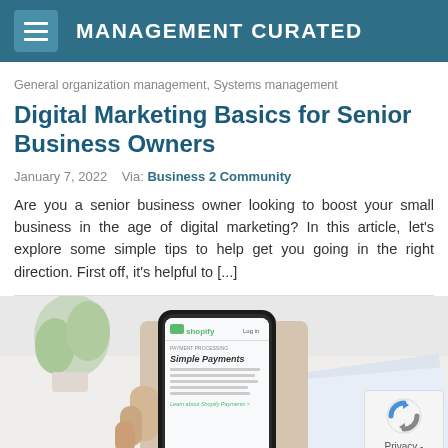MANAGEMENT CURATED
General organization management, Systems management
Digital Marketing Basics for Senior Business Owners
January 7, 2022   Via: Business 2 Community
Are you a senior business owner looking to boost your small business in the age of digital marketing? In this article, let's explore some simple tips to help get you going in the right direction. First off, it's helpful to [...]
[Figure (photo): Hand holding a smartphone displaying the Shopify app with 'Simple Payments' screen, with a plant and notebook in the background. A reCAPTCHA privacy badge appears in the bottom-right corner.]